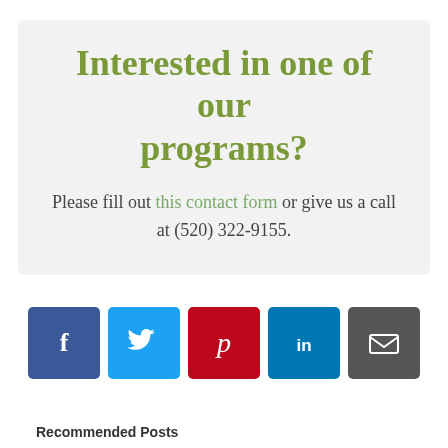Interested in one of our programs?
Please fill out this contact form or give us a call at (520) 322-9155.
[Figure (infographic): Row of 5 social media share buttons: Facebook (blue), Twitter (light blue), Pinterest (red), LinkedIn (blue), Email (dark gray)]
Recommended Posts